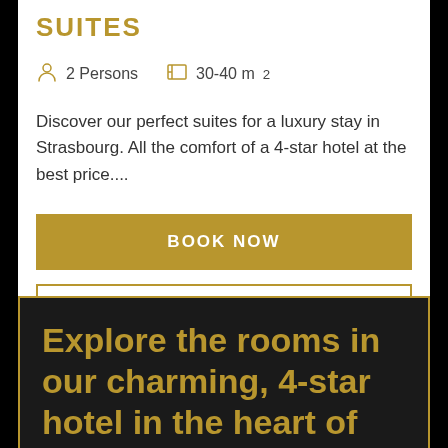SUITES
2 Persons   30-40 m²
Discover our perfect suites for a luxury stay in Strasbourg. All the comfort of a 4-star hotel at the best price....
BOOK NOW
SEE ROOM DETAILS
Explore the rooms in our charming, 4-star hotel in the heart of